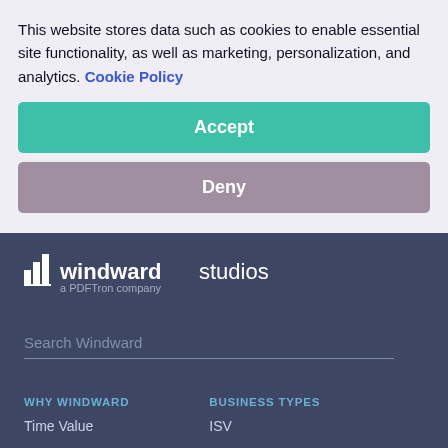[Figure (screenshot): Dark blue/navy website footer background for Windward Studios (a PDFTron company) with logo, search bar, and navigation column headers WHY WINDWARD and BUSINESS TYPES]
This website stores data such as cookies to enable essential site functionality, as well as marketing, personalization, and analytics. Cookie Policy
Accept
Deny
windward studios
a PDFTron company
Search Windward
WHY WINDWARD
BUSINESS TYPES
Time Value
ISV